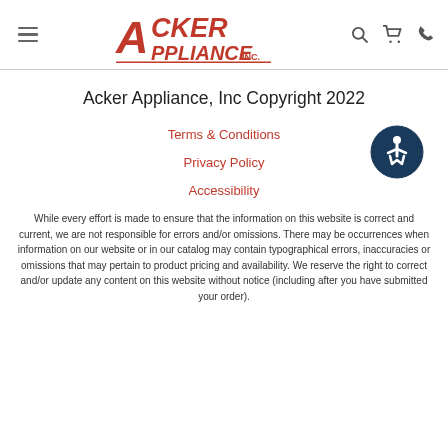[Figure (logo): Acker Appliance Inc. red logo with hamburger menu and nav icons (search, cart, phone)]
Acker Appliance, Inc Copyright 2022
Terms & Conditions
Privacy Policy
Accessibility
[Figure (illustration): Accessibility icon: dark blue circle with wheelchair accessible person symbol in white]
While every effort is made to ensure that the information on this website is correct and current, we are not responsible for errors and/or omissions. There may be occurrences when information on our website or in our catalog may contain typographical errors, inaccuracies or omissions that may pertain to product pricing and availability. We reserve the right to correct and/or update any content on this website without notice (including after you have submitted your order).